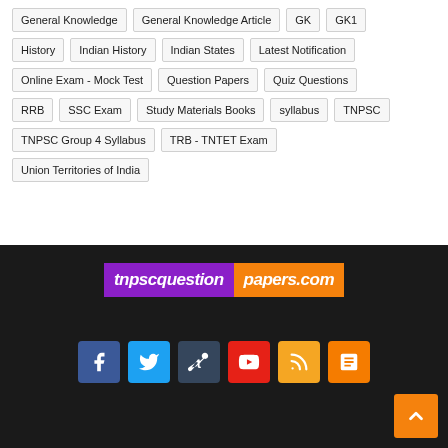General Knowledge
General Knowledge Article
GK
GK1
History
Indian History
Indian States
Latest Notification
Online Exam - Mock Test
Question Papers
Quiz Questions
RRB
SSC Exam
Study Materials Books
syllabus
TNPSC
TNPSC Group 4 Syllabus
TRB - TNTET Exam
Union Territories of India
[Figure (logo): tnpscquestionpapers.com logo with purple and orange background]
[Figure (infographic): Social media icons: Facebook, Twitter, Tumblr, YouTube, RSS, Blogger and scroll-to-top button]